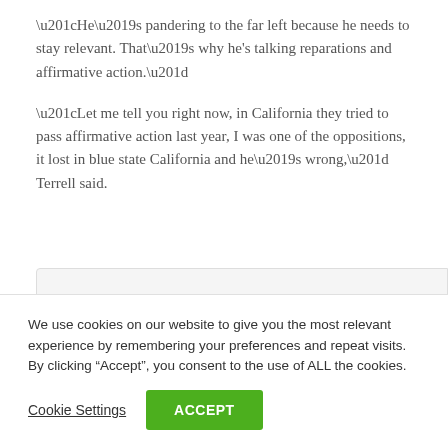“He’s pandering to the far left because he needs to stay relevant. That’s why he's talking reparations and affirmative action.”
“Let me tell you right now, in California they tried to pass affirmative action last year, I was one of the oppositions, it lost in blue state California and he’s wrong,” Terrell said.
[Figure (other): Partially visible embedded content box at the bottom of the article area]
We use cookies on our website to give you the most relevant experience by remembering your preferences and repeat visits. By clicking “Accept”, you consent to the use of ALL the cookies.
Cookie Settings   ACCEPT